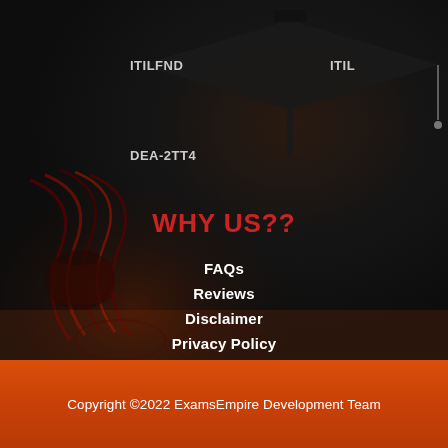[Figure (photo): Dark background with graduation cap silhouette in top right corner and ribbon/tassel decoration in lower left, suggesting a graduation/diploma theme]
ITILFND
ITIL
DEA-2TT4
WHY US??
FAQs
Reviews
Disclaimer
Privacy Policy
Guarantee
Copyright ©2022 ExamsEmpire Development Team